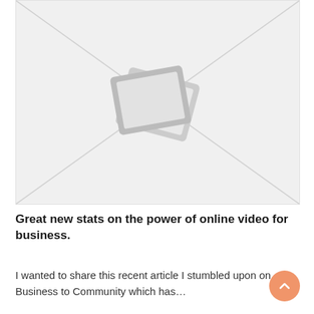[Figure (illustration): Image placeholder with grey background, diagonal lines from corners meeting in center, and stacked photo/image icons in the middle]
Great new stats on the power of online video for business.
I wanted to share this recent article I stumbled upon on Business to Community which has…